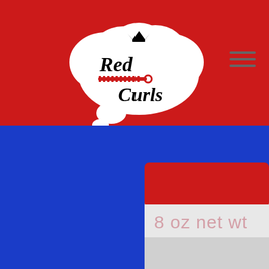[Figure (logo): Red Curls brand logo inside a thought-bubble cloud shape on a red background, with a hamburger menu icon in the top right]
[Figure (photo): Close-up photo of a red and white product jar/container on a blue background, with text '8 oz net wt' visible on the jar label]